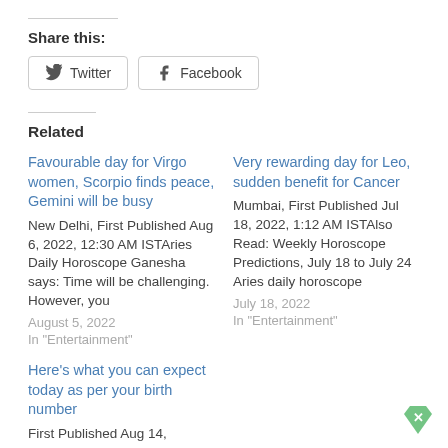Share this:
Twitter  Facebook
Related
Favourable day for Virgo women, Scorpio finds peace, Gemini will be busy
New Delhi, First Published Aug 6, 2022, 12:30 AM ISTAries Daily Horoscope Ganesha says: Time will be challenging. However, you
August 5, 2022
In "Entertainment"
Very rewarding day for Leo, sudden benefit for Cancer
Mumbai, First Published Jul 18, 2022, 1:12 AM ISTAlso Read: Weekly Horoscope Predictions, July 18 to July 24 Aries daily horoscope
July 18, 2022
In "Entertainment"
Here’s what you can expect today as per your birth number
First Published Aug 14,